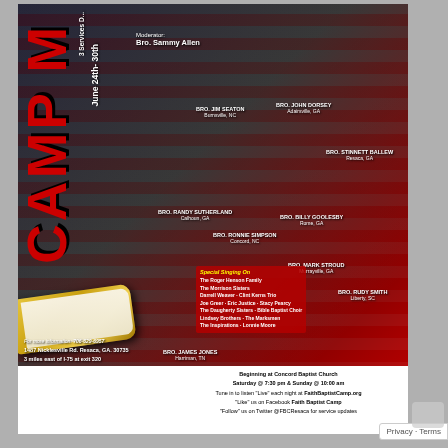[Figure (photo): Camp Meeting event flyer/poster featuring photos of multiple speakers (preachers), American flag background, and event details. Speakers include Bro. Sammy Allen (Moderator), Bro. Jim Seaton (Burnsville, NC), Bro. John Dorsey (Adairsville, GA), Bro. Stinnett Ballew (Resaca, GA), Bro. Randy Sutherland (Calhoun, GA), Bro. Ronnie Simpson (Concord, NC), Bro. Billy Goolesby (Rome, GA), Bro. Mark Stroud (Murrayville, GA), Bro. Rudy Smith (Liberty, SC), Bro. James Jones (Harriman, TN), Bro. Larry Haynes (Taylors, SC), Bro. Don Green (Lansing, MI), Bro. David Gibbs (Mason, OH), Bro. Tim Green (Milford, OH), Bro. Ricky Crawley (Rossville, GA), Bro. Dean McNeese (Ringgold, GA), Bro. Johnny Pope (Houston, TX). Special singing groups listed. Event: June 24th-30th, 3 Services Daily, Beginning at Concord Baptist Church.]